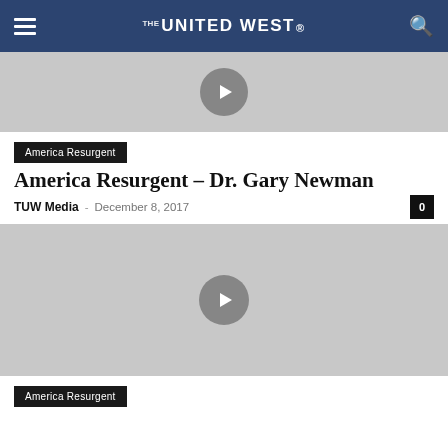THE UNITED WEST
[Figure (other): Video thumbnail placeholder with play button, gray background]
America Resurgent
America Resurgent – Dr. Gary Newman
TUW Media  –  December 8, 2017   0
[Figure (other): Video thumbnail placeholder with play button, gray background]
America Resurgent